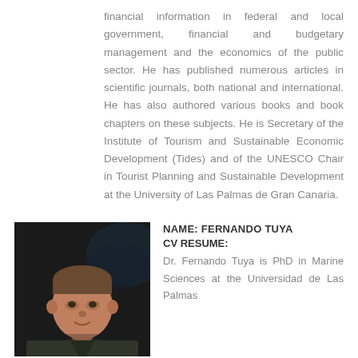financial information in federal and local government, financial and budgetary management and the economics of the public sector. He has published numerous articles in scientific journals, both national and international. He has also authored various books and book chapters on these subjects. He is Secretary of the Institute of Tourism and Sustainable Economic Development (Tides) and of the UNESCO Chair in Tourist Planning and Sustainable Development at the University of Las Palmas de Gran Canaria.
[Figure (photo): Headshot photo of Dr. Fernando Tuya, a man against a dark background with what appears to be an underwater/marine scene behind him]
NAME: FERNANDO TUYA CV RESUME: Dr. Fernando Tuya is PhD in Marine Sciences at the Universidad de Las Palmas